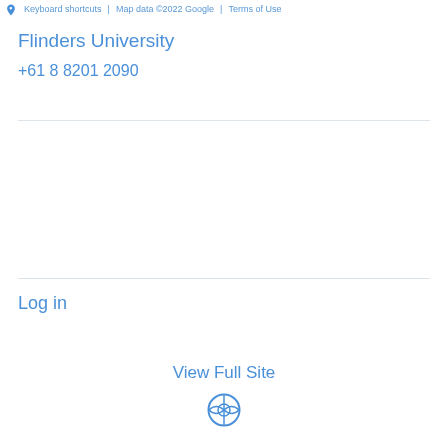Keyboard shortcuts  Map data ©2022 Google  Terms of Use
Flinders University
+61 8 8201 2090
Log in
View Full Site
[Figure (logo): WordPress logo circle icon in blue]